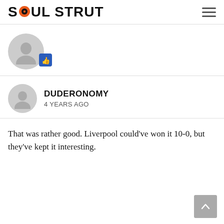SOUL STRUT
[Figure (illustration): Grey user avatar circle with a blue thumbs-up icon overlay at bottom-right]
DUDERONOMY
4 YEARS AGO
That was rather good. Liverpool could've won it 10-0, but they've kept it interesting.